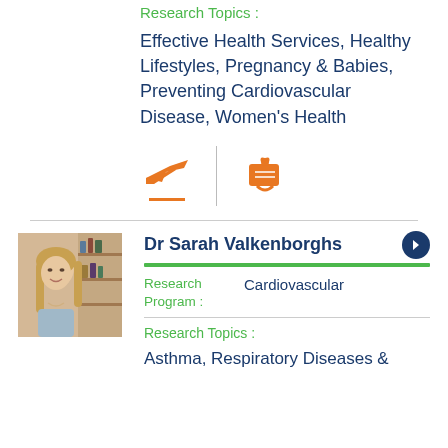Research Topics :
Effective Health Services, Healthy Lifestyles, Pregnancy & Babies, Preventing Cardiovascular Disease, Women's Health
[Figure (infographic): Two orange icons: a plane/departure icon with orange underline bar, a divider line, and a scroll/diploma icon]
Dr Sarah Valkenborghs
Research Program : Cardiovascular
Research Topics :
Asthma, Respiratory Diseases &